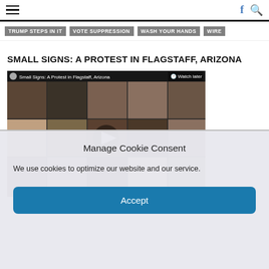☰  f 🔍
TRUMP STEPS IN IT
VOTE SUPPRESSION
WASH YOUR HANDS
WIRE
SMALL SIGNS: A PROTEST IN FLAGSTAFF, ARIZONA
[Figure (screenshot): Video thumbnail showing a grid of faces/people at a protest in Flagstaff, Arizona. Title text 'Small Signs: A Protest in Flagstaff, Arizona' visible, with a play button in the center.]
Manage Cookie Consent
We use cookies to optimize our website and our service.
Accept